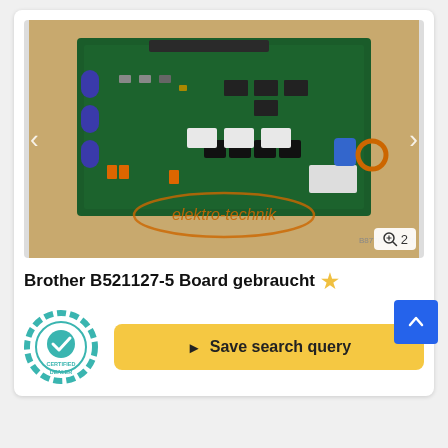[Figure (photo): Green PCB circuit board (Brother B521127-5) photographed on a wooden surface. An orange 'elektro-technik' watermark/logo overlay is visible on the lower portion. Navigation arrows visible on left and right sides of image container.]
Brother B521127-5 Board gebraucht ☆
[Figure (logo): CERTIFIED DEALER badge — circular teal/green gear-shaped badge with a checkmark in the center and 'CERTIFIED DEALER' text]
Save search query